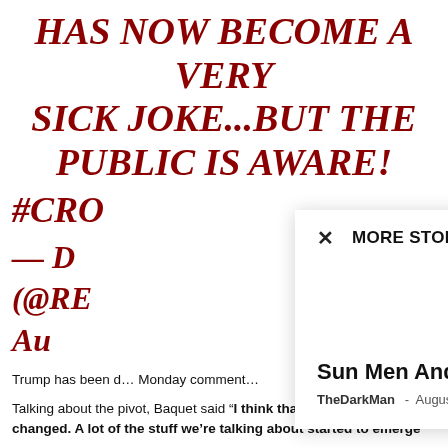HAS NOW BECOME A VERY SICK JOKE...BUT THE PUBLIC IS AWARE!
#CRC...
— D... (@RE... A...
Trump has been d... Monday comment...
MORE STORIES
Sun Men And Swastikas
TheDarkMan - August 26, 2022
Talking about the pivot, Baquet said “I think that the story changed. A lot of the stuff we’re talking about started to emerge